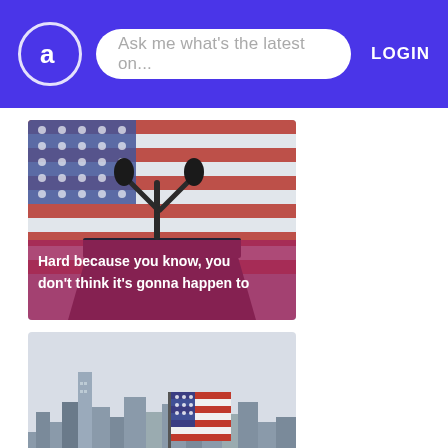Ask me what's the latest on... | LOGIN
[Figure (photo): A podium with two microphones in front of an American flag, with overlay text 'Hard because you know, you don't think it's gonna happen to']
[Figure (photo): New York City skyline with an American flag in the foreground]